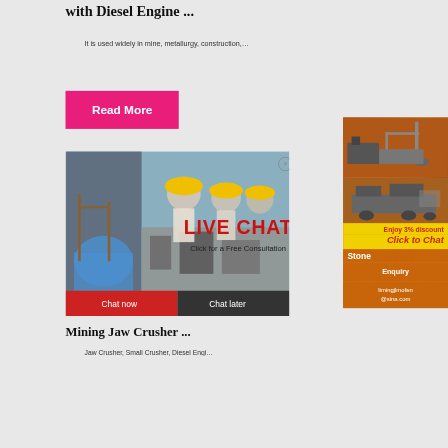with Diesel Engine ...
It is used widely in mine, metallurgy, construction,…
[Figure (other): Pink/red Read More button]
[Figure (photo): Live chat overlay with workers in hard hats, LIVE CHAT heading, Click for a Free Consultation, Chat now and Chat later buttons]
[Figure (photo): Mining jaw crusher product image showing industrial crushing equipment]
Mining Jaw Crusher ...
Jaw Crusher, Small Crusher, Diesel Engi…
[Figure (other): Orange right sidebar with equipment images, Enjoy 3% discount, Click to Chat, Stone, Enquiry, limingjlmofen@sina.com]